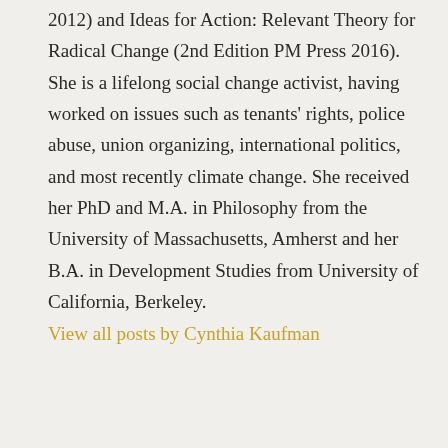2012) and Ideas for Action: Relevant Theory for Radical Change (2nd Edition PM Press 2016). She is a lifelong social change activist, having worked on issues such as tenants' rights, police abuse, union organizing, international politics, and most recently climate change. She received her PhD and M.A. in Philosophy from the University of Massachusetts, Amherst and her B.A. in Development Studies from University of California, Berkeley.
View all posts by Cynthia Kaufman